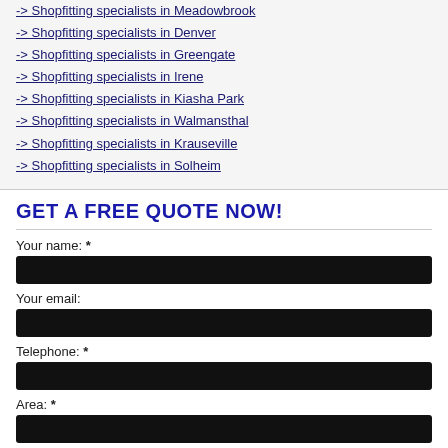-> Shopfitting specialists in Meadowbrook
-> Shopfitting specialists in Denver
-> Shopfitting specialists in Greengate
-> Shopfitting specialists in Irene
-> Shopfitting specialists in Kiasha Park
-> Shopfitting specialists in Walmansthal
-> Shopfitting specialists in Krauseville
-> Shopfitting specialists in Solheim
GET A FREE QUOTE NOW!
Your name: *
Your email:
Telephone: *
Area: *